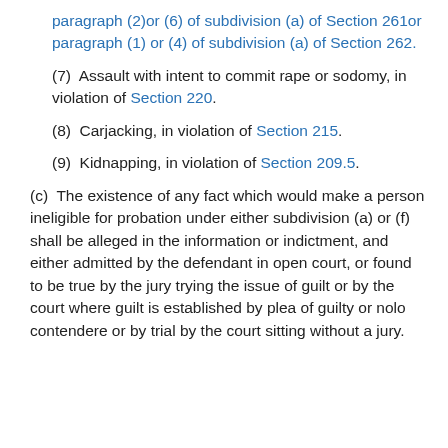paragraph (2)or (6) of subdivision (a) of Section 261or paragraph (1) or (4) of subdivision (a) of Section 262.
(7)  Assault with intent to commit rape or sodomy, in violation of Section 220.
(8)  Carjacking, in violation of Section 215.
(9)  Kidnapping, in violation of Section 209.5.
(c)  The existence of any fact which would make a person ineligible for probation under either subdivision (a) or (f) shall be alleged in the information or indictment, and either admitted by the defendant in open court, or found to be true by the jury trying the issue of guilt or by the court where guilt is established by plea of guilty or nolo contendere or by trial by the court sitting without a jury.